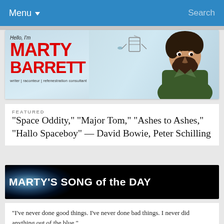Menu ▾   Search
[Figure (illustration): Website banner reading 'Hello, I'm MARTY BARRETT writer | raconteur | refenestration consultant' with an illustrated bearded man on the right and a spacecraft in the background]
FEATURED
“Space Oddity,” “Major Tom,” “Ashes to Ashes,” “Hallo Spaceboy” — David Bowie, Peter Schilling
[Figure (illustration): MARTY'S SONG of the DAY banner with glowing orb on black background]
“I’ve never done good things. I’ve never done bad things. I never did anything out of the blue.”